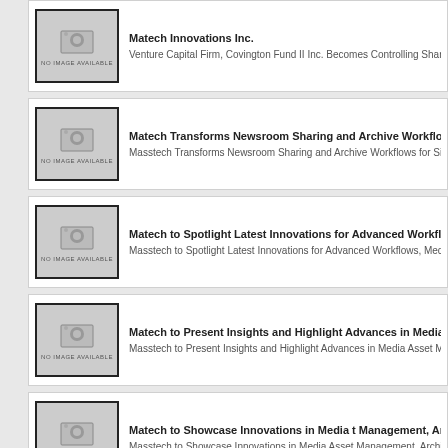Matech Innovations Inc. | Venture Capital Firm, Covington Fund II Inc. Becomes Controlling Sharehold...
Matech Transforms Newsroom Sharing and Archive Workflows for Broadcast Group | Masstech Transforms Newsroom Sharing and Archive Workflows for Sinclair...
Matech to Spotlight Latest Innovations for Advanced Workflows, Management and Newsrooms at IBC05 | Masstech to Spotlight Latest Innovations for Advanced Workflows, Media Ass...
Matech to Present Insights and Highlight Advances in Media t Ma... Workflows at SMPTE Australia | Masstech to Present Insights and Highlight Advances in Media Asset Manage...
Matech to Showcase Innovations in Media t Management, Archivi... Workflows at Broadcast Asia 05 | Masstech to Showcase Innovations in Media Asset Management, Archiving a...
Matech Expands International Sales Presence with Four Key App... | Masstech Expands International Sales Presence with Four Key Appointments; positions and promotions address worldwide market opportunities whi...
New Partnership Brings MOG Technologies Advanced Ingest to M... Management Solutions | New Partnership Brings MOG Technologies' Advanced Ingest to Masstech M...